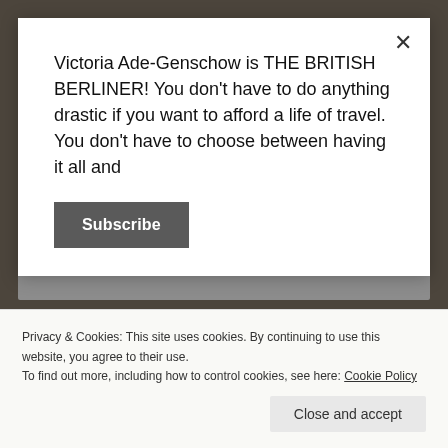Victoria Ade-Genschow is THE BRITISH BERLINER! You don't have to do anything drastic if you want to afford a life of travel. You don't have to choose between having it all and
Subscribe
Now I'm a corporate inter-cultural life coach and an educational English language trainer and teacher in Berlin, as well as being an International Social Media Lifestyle & Professional Travel Blogger!
Privacy & Cookies: This site uses cookies. By continuing to use this website, you agree to their use.
To find out more, including how to control cookies, see here: Cookie Policy
Close and accept